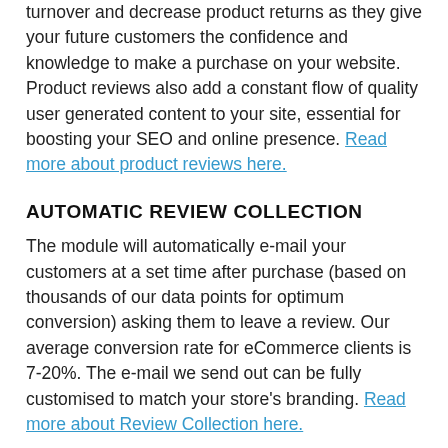turnover and decrease product returns as they give your future customers the confidence and knowledge to make a purchase on your website. Product reviews also add a constant flow of quality user generated content to your site, essential for boosting your SEO and online presence. Read more about product reviews here.
AUTOMATIC REVIEW COLLECTION
The module will automatically e-mail your customers at a set time after purchase (based on thousands of our data points for optimum conversion) asking them to leave a review. Our average conversion rate for eCommerce clients is 7-20%. The e-mail we send out can be fully customised to match your store's branding. Read more about Review Collection here.
THIRD PARTY REVIEW COLLECTION AND